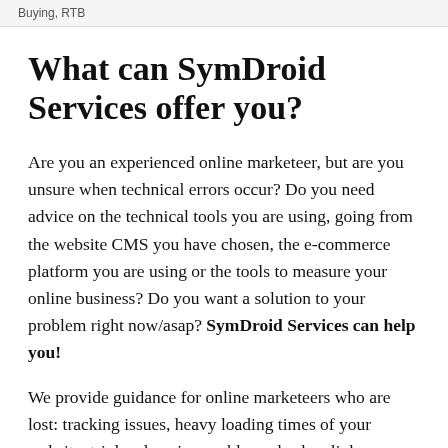Buying, RTB
What can SymDroid Services offer you?
Are you an experienced online marketeer, but are you unsure when technical errors occur? Do you need advice on the technical tools you are using, going from the website CMS you have chosen, the e-commerce platform you are using or the tools to measure your online business? Do you want a solution to your problem right now/asap? SymDroid Services can help you!
We provide guidance for online marketeers who are lost: tracking issues, heavy loading times of your website, triple adserving problems, broken links, images not showing on your website, among